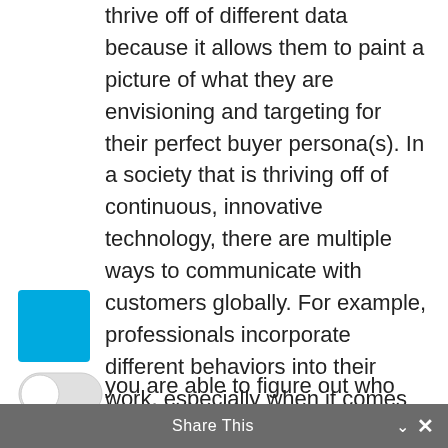thrive off of different data because it allows them to paint a picture of what they are envisioning and targeting for their perfect buyer persona(s). In a society that is thriving off of continuous, innovative technology, there are multiple ways to communicate with customers globally. For example, professionals incorporate different behaviors into their work, especially when it comes to different forms of media.
you are able to figure out who you are trying to communicate with,
Share This ×